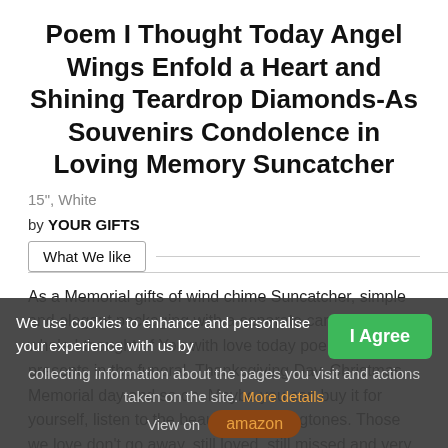Poem I Thought Today Angel Wings Enfold a Heart and Shining Teardrop Diamonds-As Souvenirs Condolence in Loving Memory Suncatcher
15", White
by YOUR GIFTS
What We like
As a Memorial gifts of wind chime Suncatcher, simple and elegant packaging with a separate card printed the whole I thought of You with love today poem. Beautiful presents in the funeral, Thanksgiving Day, Christmas, Memorial day and so on. Maybe you can buy it for yourself, listen to the beautiful wind ringtones. Those we love don't go away, still loved, still missed and very Dear
We use cookies to enhance and personalise your experience with us by collecting information about the pages you visit and actions taken on the site. More details
I Agree
View on amazon